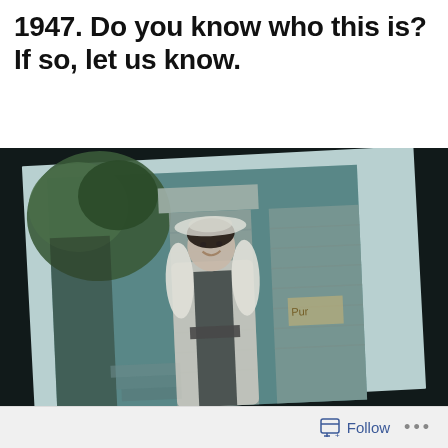1947. Do you know who this is? If so, let us know.
[Figure (photo): A vintage black-and-white photograph (tinted teal/cyan) from 1947 showing a smiling woman wearing a hat and a fur-trimmed coat, standing in front of a stone pillar or wall. The photo appears to be a physical print displayed at a slight angle against a dark background.]
Follow ...